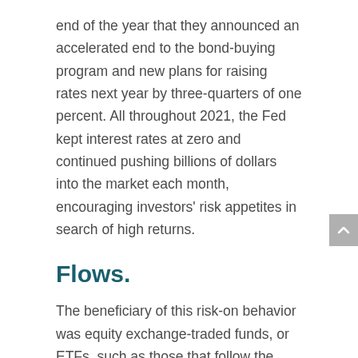end of the year that they announced an accelerated end to the bond-buying program and new plans for raising rates next year by three-quarters of one percent. All throughout 2021, the Fed kept interest rates at zero and continued pushing billions of dollars into the market each month, encouraging investors' risk appetites in search of high returns.
Flows.
The beneficiary of this risk-on behavior was equity exchange-traded funds, or ETFs, such as those that follow the S&P 500 index of US large-capitalization stocks. Of the record $900 billion that flowed into ETFs this year, over 50% of